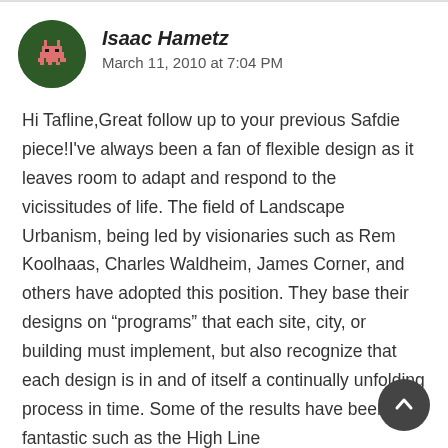[Figure (illustration): Circular avatar with dark green background showing a pixel-art space invader style character in pink/red]
Isaac Hametz
March 11, 2010 at 7:04 PM
Hi Tafline,Great follow up to your previous Safdie piece!I've always been a fan of flexible design as it leaves room to adapt and respond to the vicissitudes of life. The field of Landscape Urbanism, being led by visionaries such as Rem Koolhaas, Charles Waldheim, James Corner, and others have adopted this position. They base their designs on “programs” that each site, city, or building must implement, but also recognize that each design is in and of itself a continually unfolding process in time. Some of the results have been fantastic such as the High Line (http://www.thehighline.org/) in NYC.I don't know